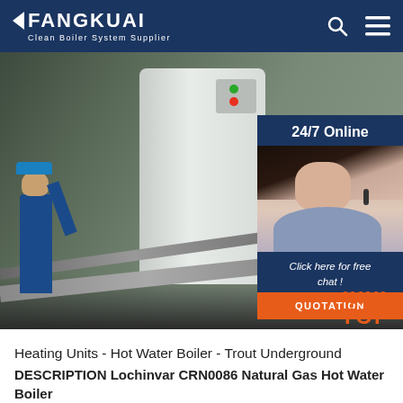FANGKUAI Clean Boiler System Supplier
[Figure (photo): Industrial boiler room with a large white vertical boiler tank, worker in blue uniform and hard hat on the left, metal pipes and equipment, with a sidebar overlay showing a customer service representative with headset and call-to-action buttons]
Heating Units - Hot Water Boiler - Trout Underground DESCRIPTION Lochinvar CRN0086 Natural Gas Hot Water Boiler